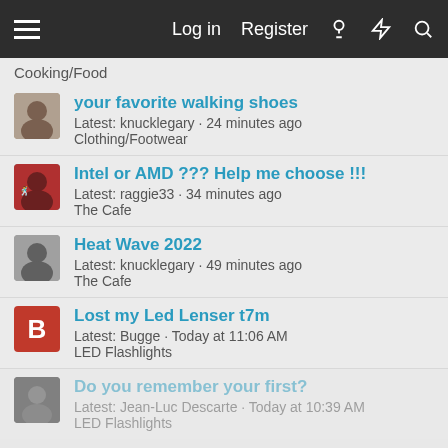Log in  Register
Cooking/Food
your favorite walking shoes
Latest: knucklegary · 24 minutes ago
Clothing/Footwear
Intel or AMD ??? Help me choose !!!
Latest: raggie33 · 34 minutes ago
The Cafe
Heat Wave 2022
Latest: knucklegary · 49 minutes ago
The Cafe
Lost my Led Lenser t7m
Latest: Bugge · Today at 11:06 AM
LED Flashlights
Do you remember your first?
Latest: Jean-Luc Descarte · Today at 10:39 AM
LED Flashlights